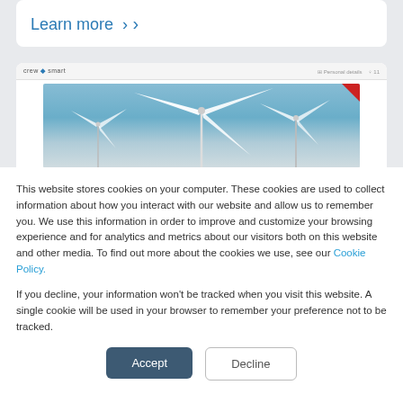Learn more ›
[Figure (screenshot): Screenshot of a crew/smart website showing a Fleet Service Engineer job listing with a wind turbine image]
This website stores cookies on your computer. These cookies are used to collect information about how you interact with our website and allow us to remember you. We use this information in order to improve and customize your browsing experience and for analytics and metrics about our visitors both on this website and other media. To find out more about the cookies we use, see our Cookie Policy.
If you decline, your information won't be tracked when you visit this website. A single cookie will be used in your browser to remember your preference not to be tracked.
Accept
Decline